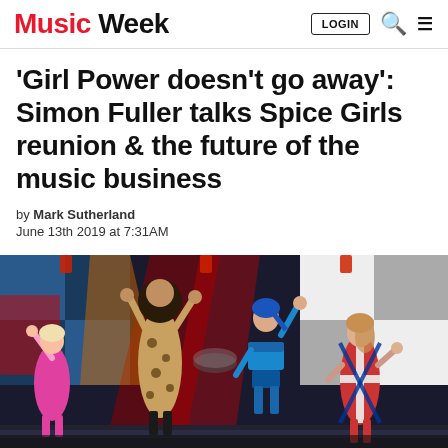Music Week
'Girl Power doesn't go away': Simon Fuller talks Spice Girls reunion & the future of the music business
by Mark Sutherland
June 13th 2019 at 7:31AM
[Figure (photo): Four Spice Girls performing on stage with colourful lights, dressed in iconic outfits including pink sequins, leopard print, blue sequined crop top, and Union Jack dress. Background shows large screens with checkerboard and colourful patterns.]